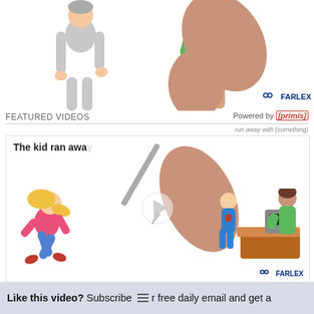[Figure (screenshot): Screenshot of Farlex dictionary/video page showing 'run away with (something)' - includes top illustration with cartoon figures and hand, FEATURED VIDEOS header with Primis branding, video player showing running girl and hand-with-pen animation with play button, Farlex logo, phrase title 'run away with (something)', definition text, advertisement note with links, and bottom banner prompting video subscription.]
FEATURED VIDEOS
Powered by [primis]
run away with (something)
run away with (something)
run away with (something) To flee with something that one has stolen. The kid ran away with a bunch of candy while her friend distracted the shop owner. See Advertisement. Bad banner? Please let us know Remove Ads
Like this video? Subscribe to our free daily email and get a